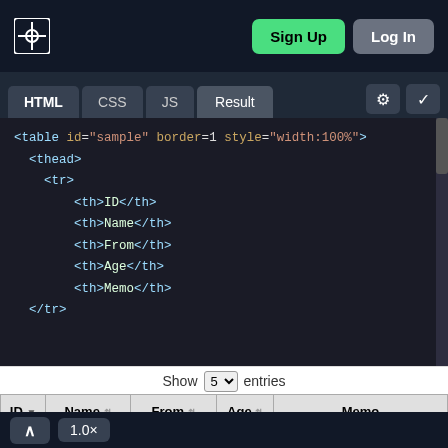CodePen-style editor header with Sign Up and Log In buttons
HTML | CSS | JS | Result tabs
<table id="sample" border=1 style="width:100%">
  <thead>
    <tr>
        <th>ID</th>
        <th>Name</th>
        <th>From</th>
        <th>Age</th>
        <th>Memo</th>
  </tr>
Show 5 entries
| ID | Name | From | Age | Memo |
| --- | --- | --- | --- | --- |
| 5 | Cara Fife | New York | 29 | grape, melon, orange |
| 4 | Herrod Fife | Herrod is in Fife | 29 | melon, grape, orange |
^ | 1.0×